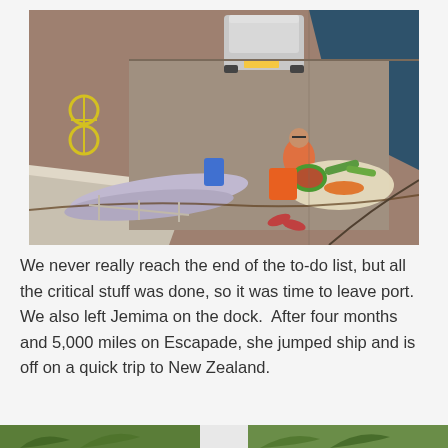[Figure (photo): Aerial view of a dock/marina. A person in an orange swimsuit sits among vegetables (watermelon, carrots, cucumbers) on the dock. Nearby are surfboards, bags, flip-flops, ropes, and a silver car with open trunk. Water and a boat deck are visible.]
We never really reach the end of the to-do list, but all the critical stuff was done, so it was time to leave port.  We also left Jemima on the dock.  After four months and 5,000 miles on Escapade, she jumped ship and is off on a quick trip to New Zealand.
[Figure (photo): Partial bottom strip showing green foliage/tropical scenery on left and right sides, cropped at page bottom.]